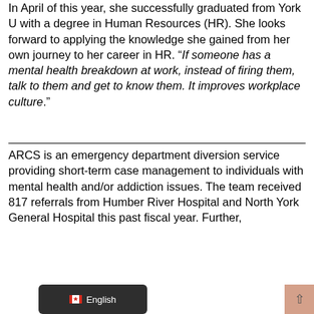In April of this year, she successfully graduated from York U with a degree in Human Resources (HR). She looks forward to applying the knowledge she gained from her own journey to her career in HR. “If someone has a mental health breakdown at work, instead of firing them, talk to them and get to know them. It improves workplace culture.”
ARCS is an emergency department diversion service providing short-term case management to individuals with mental health and/or addiction issues. The team received 817 referrals from Humber River Hospital and North York General Hospital this past fiscal year. Further,